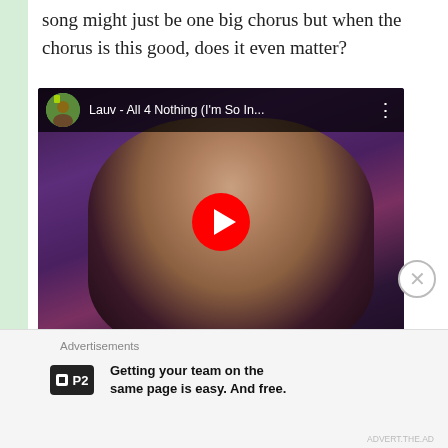song might just be one big chorus but when the chorus is this good, does it even matter?
[Figure (screenshot): YouTube video embed showing Lauv - All 4 Nothing (I'm So In...) with play button overlay on a purple-toned music video frame]
Advertisements
[Figure (logo): P2 logo - small square icon with P2 text in white on black background]
Getting your team on the same page is easy. And free.